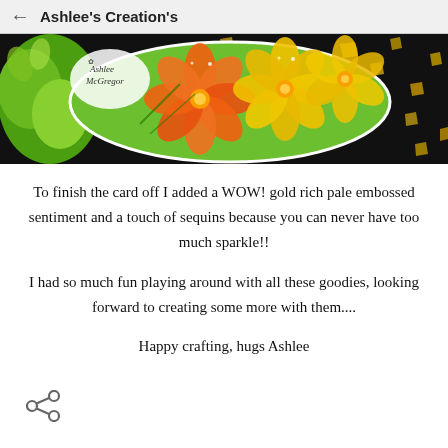Ashlee's Creation's
[Figure (photo): Banner image showing flowers on a black background with gold foil accents. An oval sticker with orange and yellow hibiscus flowers on a green leaf background is shown. The Ashlee McGregor logo is visible in the top left.]
To finish the card off I added a WOW! gold rich pale embossed sentiment and a touch of sequins because you can never have too much sparkle!!
I had so much fun playing around with all these goodies, looking forward to creating some more with them....
Happy crafting, hugs Ashlee